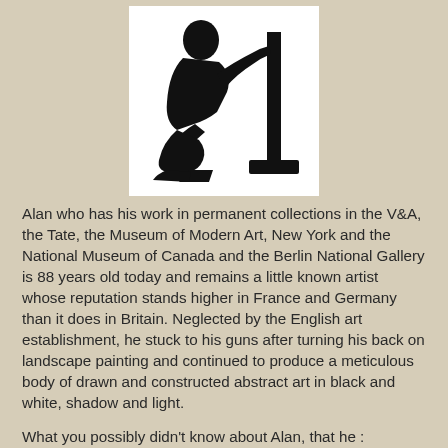[Figure (illustration): Black silhouette of a person kneeling and working at an easel or stand, on white background]
Alan who has his work in permanent collections in the V&A, the Tate, the Museum of Modern Art, New York and the National Museum of Canada and the Berlin National Gallery is 88 years old today and remains a little known artist whose reputation stands higher in France and Germany than it does in Britain. Neglected by the English art establishment, he stuck to his guns after turning his back on landscape painting and continued to produce a meticulous body of drawn and constructed abstract art in black and white, shadow and light.
What you possibly didn't know about Alan, that he :
* was born in the year of the General Strike in 1926, in Newmarket in Suffolk where his father, who had Scottish blood, worked as a stableman and his mother was from